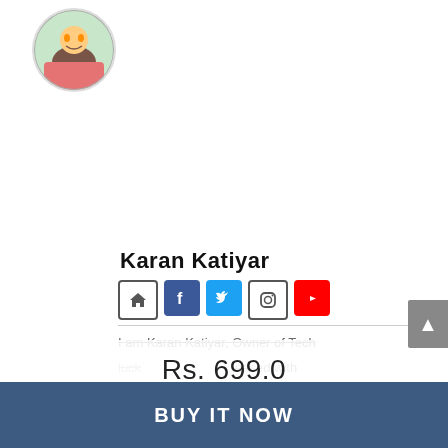[Figure (photo): Circular profile photo of a person in colorful clothing outdoors]
Karan Katiyar
[Figure (infographic): Social media icons: home, Facebook, Twitter, Instagram, YouTube]
I am Karan Katiyar, Owner of TechYukti, a technology-focused website. I am passionate about online education, blogging...
Rs. 699.0
BUY IT NOW